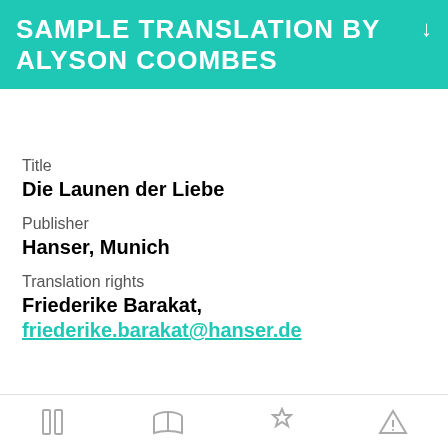SAMPLE TRANSLATION BY ALYSON COOMBES
Title
Die Launen der Liebe
Publisher
Hanser, Munich
Translation rights
Friederike Barakat,
friederike.barakat@hanser.de